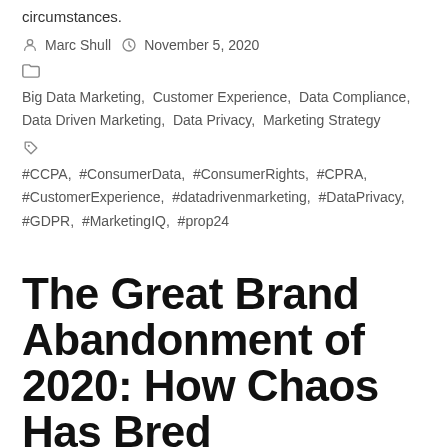circumstances.
By Marc Shull  November 5, 2020
Categories: Big Data Marketing, Customer Experience, Data Compliance, Data Driven Marketing, Data Privacy, Marketing Strategy
Tags: #CCPA, #ConsumerData, #ConsumerRights, #CPRA, #CustomerExperience, #datadrivenmarketing, #DataPrivacy, #GDPR, #MarketingIQ, #prop24
The Great Brand Abandonment of 2020: How Chaos Has Bred Opportunity